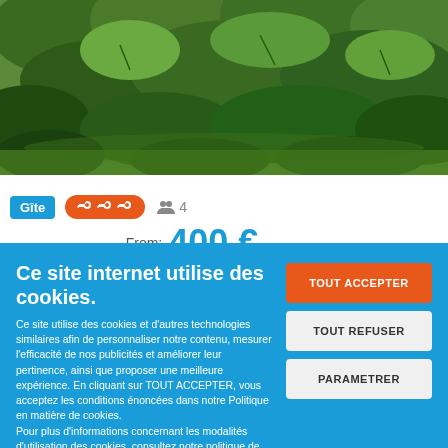[Figure (photo): Outdoor photo of green garden plants and foliage]
Gîte  🔑🔑🔑  👥 4
From: 400 € per week
Ce site internet utilise des cookies.
Ce site utilise des cookies et d'autres technologies similaires afin de personnaliser notre contenu, mesurer l'efficacité de nos publicités et améliorer leur pertinence, ainsi que proposer une meilleure expérience. En cliquant sur TOUT ACCEPTER, vous acceptez les conditions énoncées dans notre Politique en matière de cookies.
Pour plus d'informations concernant les modalités d'utilisation des cookies, consultez notre politique de confidentialité.
Pour modifier vos préférences, vous devez mettre paramétrer vos préférences de cookies.